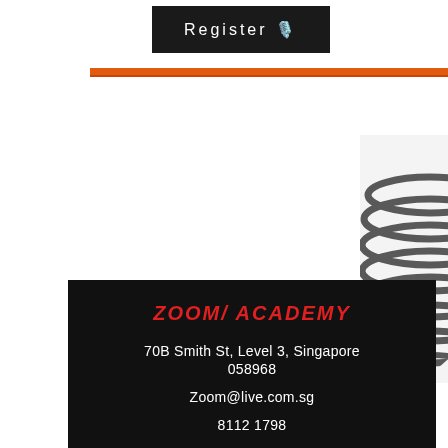Register 🎙️
[Figure (illustration): Vintage microphone partially visible on the right edge of the page]
ZOOM/ ACADEMY
70B Smith St, Level 3, Singapore
058968
Zoom@live.com.sg
8112 1798